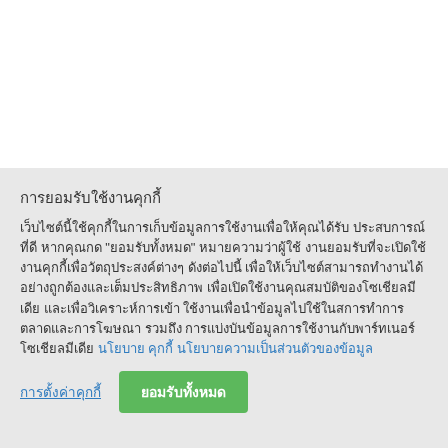การยอมรับใช้งานคุกกี้
เว็บไซต์นี้ใช้คุกกี้ในการเก็บข้อมูลการใช้งานเพื่อให้คุณได้รับประสบการณ์ที่ดี หากคุณกด "ยอมรับทั้งหมด" หมายความว่าผู้ใช้งานยอมรับที่จะเปิดใช้งานคุกกี้เพื่อวัตถุประสงค์ต่างๆ ดังต่อไปนี้ เพื่อให้เว็บไซต์สามารถทำงานได้อย่างถูกต้องและเต็มประสิทธิภาพ เพื่อเปิดใช้งานคุณสมบัติของโซเชียลมีเดีย และเพื่อวิเคราะห์การเข้าใช้งานเพื่อนำข้อมูลไปใช้ในสการทำการตลาดและการโฆษณา รวมถึงการแบ่งบันข้อมูลการใช้งานกับพาร์ทเนอร์โซเชียลมีเดีย นโยบายคุกกี้ นโยบายความเป็นส่วนตัวของข้อมูล
การตั้งค่าคุกกี้
ยอมรับทั้งหมด